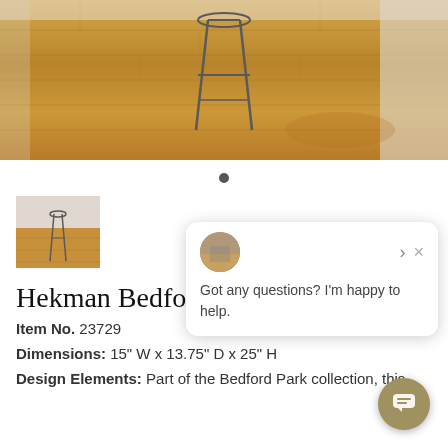[Figure (photo): Product room scene photo showing wooden flooring with a tall metal stool/table on it, modern interior setting]
[Figure (photo): Small thumbnail of room scene with wooden floor and metal stool]
[Figure (screenshot): Chat bubble popup: 'Got any questions? I'm happy to help.' with avatar and close button]
Hekman Bedford
Item No. 23729
Dimensions: 15" W x 13.75" D x 25" H
Design Elements: Part of the Bedford Park collection, this